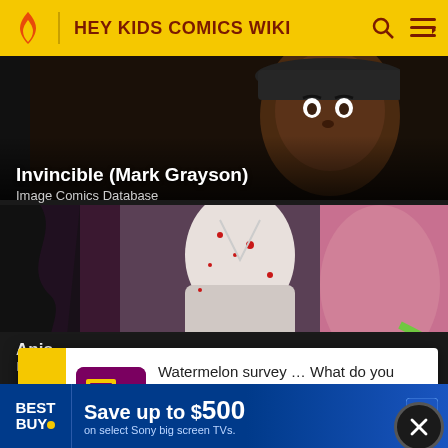HEY KIDS COMICS WIKI
[Figure (screenshot): Dark comic panel showing a character's face with dark skin, wide eyes, wearing a hat]
Invincible (Mark Grayson)
Image Comics Database
[Figure (illustration): Colorful comic art showing characters in action, one in a white costume with blood spatters]
Watermelon survey … What do you think about Harry Styles?
TAKE THE SURVEY HERE
Anis
Imag
[Figure (screenshot): Best Buy advertisement: Save up to $500 on select Sony big screen TVs.]